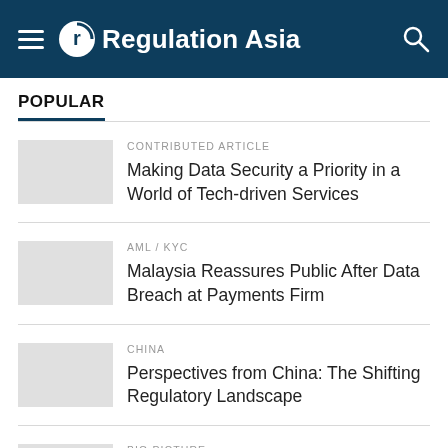Regulation Asia
POPULAR
CONTRIBUTED ARTICLE
Making Data Security a Priority in a World of Tech-driven Services
AML / KYC
Malaysia Reassures Public After Data Breach at Payments Firm
CHINA
Perspectives from China: The Shifting Regulatory Landscape
BIG PICTURE